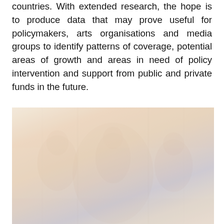countries. With extended research, the hope is to produce data that may prove useful for policymakers, arts organisations and media groups to identify patterns of coverage, potential areas of growth and areas in need of policy intervention and support from public and private funds in the future.
[Figure (photo): A faded/washed-out photograph appearing to show a mural or artistic scene with face-like figures and warm tones of orange, beige, and blue-grey.]